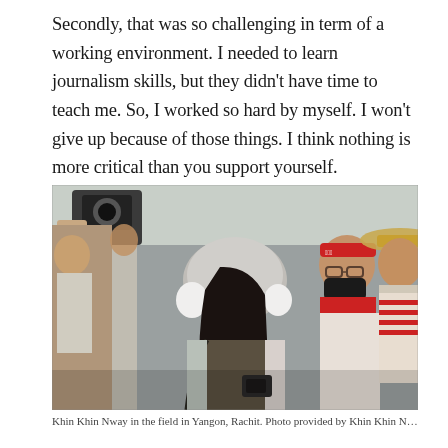Secondly, that was so challenging in term of a working environment. I needed to learn journalism skills, but they didn't have time to teach me. So, I worked so hard by myself. I won't give up because of those things. I think nothing is more critical than you support yourself.
[Figure (photo): A young woman wearing a helmet and ear protection stands in a crowd at what appears to be a protest or public gathering. She looks upward. Behind her are people including a man with a red headband, glasses, and a black face mask, and another person in a wide-brimmed hat. A camera operator is visible in the background.]
Khin Khin Nway in the field in Yangon, Rachit. Photo provided by Khin Khin Nway